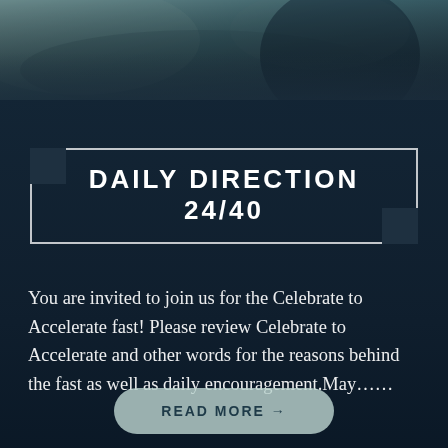[Figure (photo): Dark moody background photo with teal/dark blue tones showing a person silhouette in a misty outdoor scene; upper portion shows rocky/textured surface with dark overlay]
DAILY DIRECTION 24/40
You are invited to join us for the Celebrate to Accelerate fast! Please review Celebrate to Accelerate and other words for the reasons behind the fast as well as daily encouragement.May……
READ MORE →